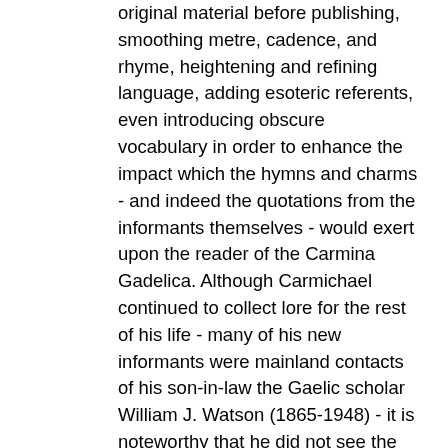original material before publishing, smoothing metre, cadence, and rhyme, heightening and refining language, adding esoteric referents, even introducing obscure vocabulary in order to enhance the impact which the hymns and charms - and indeed the quotations from the informants themselves - would exert upon the reader of the Carmina Gadelica. Although Carmichael continued to collect lore for the rest of his life - many of his new informants were mainland contacts of his son-in-law the Gaelic scholar William J. Watson (1865-1948) - it is noteworthy that he did not see the further volumes he originally envisaged through the press. It was left to his daughter Ella to bring out a new edition of the first two books of the Carmina in 1928, with a third and fourth volume, edited by his grandson James Carmichael Watson (1910-1942), appearing in 1940-1941.
Although later scholars have cast some doubt on the editing practices he employed in the creation of the Carmina Gadelica, Carmichael's great work, and his manuscript collection as a whole, remain an indispensable treasure-trove, the fruits of a lifetime spent selflessly in the service of his own people, gathering, preserving, transmitting, and interpreting Gaelic...